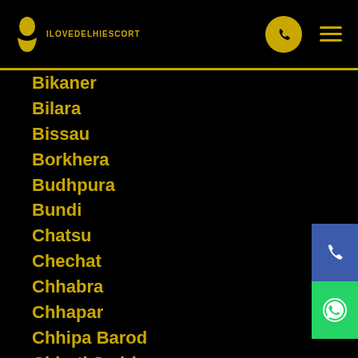ILOVEDELHIESCORT
Bikaner
Bilara
Bissau
Borkhera
Budhpura
Bundi
Chatsu
Chechat
Chhabra
Chhapar
Chhipa Barod
Chhoti Sadri
Chirawa
Chittaurgarh
Chittorgarh
Chomun
Churu
Daosa